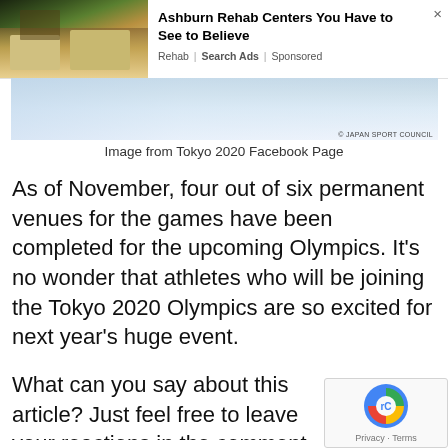[Figure (photo): Ad banner showing a luxury rehab resort building with warm lighting, next to ad text]
Ashburn Rehab Centers You Have to See to Believe
Rehab | Search Ads | Sponsored
[Figure (photo): Wide landscape photo of a snowy or sandy field, credited to Japan Sport Council]
Image from Tokyo 2020 Facebook Page
As of November, four out of six permanent venues for the games have been completed for the upcoming Olympics. It’s no wonder that athletes who will be joining the Tokyo 2020 Olympics are so excited for next year’s huge event.
What can you say about this article? Just feel free to leave your reactions in the comment se